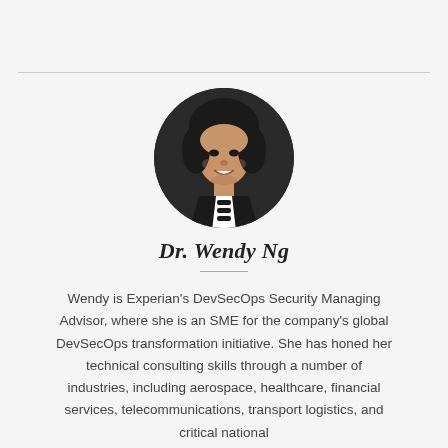[Figure (photo): Circular headshot photo of Dr. Wendy Ng, a woman with dark hair, smiling, wearing a black and white outfit with decorative buttons, against a dark background.]
Dr. Wendy Ng
Wendy is Experian's DevSecOps Security Managing Advisor, where she is an SME for the company's global DevSecOps transformation initiative. She has honed her technical consulting skills through a number of industries, including aerospace, healthcare, financial services, telecommunications, transport logistics, and critical national infrastructure and border control.